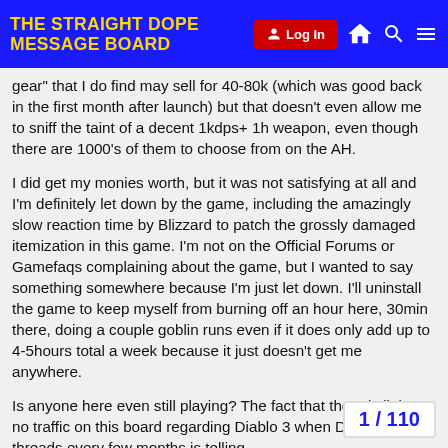THE STRAIGHT DOPE MESSAGE BOARD
gear" that I do find may sell for 40-80k (which was good back in the first month after launch) but that doesn't even allow me to sniff the taint of a decent 1kdps+ 1h weapon, even though there are 1000's of them to choose from on the AH.

I did get my monies worth, but it was not satisfying at all and I'm definitely let down by the game, including the amazingly slow reaction time by Blizzard to patch the grossly damaged itemization in this game. I'm not on the Official Forums or Gamefaqs complaining about the game, but I wanted to say something somewhere because I'm just let down. I'll uninstall the game to keep myself from burning off an hour here, 30min there, doing a couple goblin runs even if it does only add up to 4-5hours total a week because it just doesn't get me anywhere.

Is anyone here even still playing? The fact that there is little to no traffic on this board regarding Diablo 3 when D2 had new threads every few months is telling.
1 / 110